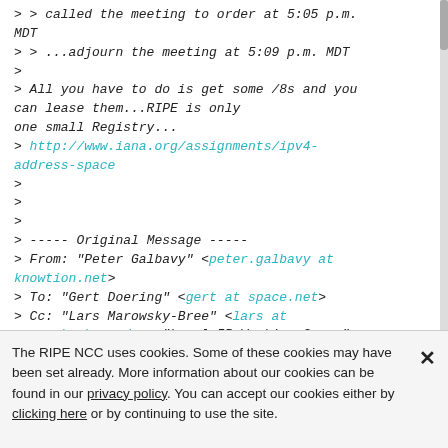> > called the meeting to order at 5:05 p.m. MDT
> > ...adjourn the meeting at 5:09 p.m. MDT
>
> All you have to do is get some /8s and you can lease them...RIPE is only
one small Registry...
> http://www.iana.org/assignments/ipv4-address-space
>
>
>
> ----- Original Message -----
> From: "Peter Galbavy" <peter.galbavy at knowtion.net>
> To: "Gert Doering" <gert at space.net>
> Cc: "Lars Marowsky-Bree" <lars at marowsky-bree.de>; "Local IR Working Group" <lir-wg at ripe.net>
The RIPE NCC uses cookies. Some of these cookies may have been set already. More information about our cookies can be found in our privacy policy. You can accept our cookies either by clicking here or by continuing to use the site.